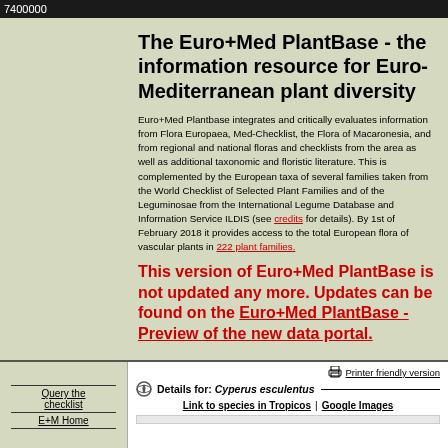7400000
The Euro+Med PlantBase - the information resource for Euro-Mediterranean plant diversity
Euro+Med Plantbase integrates and critically evaluates information from Flora Europaea, Med-Checklist, the Flora of Macaronesia, and from regional and national floras and checklists from the area as well as additional taxonomic and floristic literature. This is complemented by the European taxa of several families taken from the World Checklist of Selected Plant Families and of the Leguminosae from the International Legume Database and Information Service ILDIS (see credits for details). By 1st of February 2018 it provides access to the total European flora of vascular plants in 222 plant families.
This version of Euro+Med PlantBase is not updated any more. Updates can be found on the Euro+Med PlantBase - Preview of the new data portal.
Query the checklist
E+M Home
Printer friendly version
Details for: Cyperus esculentus
Link to species in Tropicos | Google Images